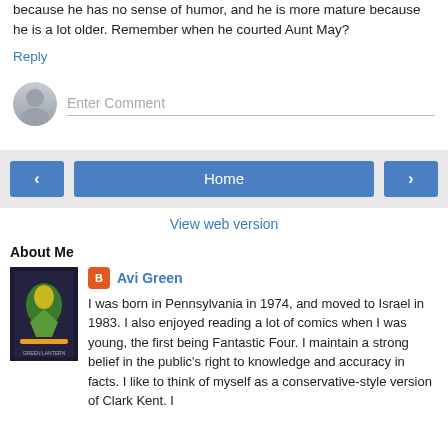because he has no sense of humor, and he is more mature because he is a lot older. Remember when he courted Aunt May?
Reply
[Figure (other): Comment input area with avatar placeholder and 'Enter Comment' text field]
[Figure (other): Navigation bar with left arrow, Home button, and right arrow buttons]
View web version
About Me
[Figure (illustration): Comic book cover image with green and yellow superhero character]
Avi Green
I was born in Pennsylvania in 1974, and moved to Israel in 1983. I also enjoyed reading a lot of comics when I was young, the first being Fantastic Four. I maintain a strong belief in the public's right to knowledge and accuracy in facts. I like to think of myself as a conservative-style version of Clark Kent. I